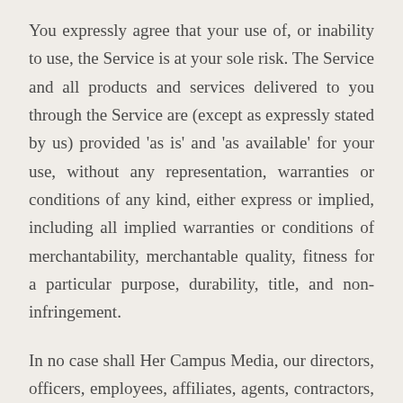You expressly agree that your use of, or inability to use, the Service is at your sole risk. The Service and all products and services delivered to you through the Service are (except as expressly stated by us) provided 'as is' and 'as available' for your use, without any representation, warranties or conditions of any kind, either express or implied, including all implied warranties or conditions of merchantability, merchantable quality, fitness for a particular purpose, durability, title, and non-infringement.
In no case shall Her Campus Media, our directors, officers, employees, affiliates, agents, contractors, interns, suppliers, service providers or licensors be liable for any injury, loss, claim, or any direct, indirect, incidental, punitive, special, or consequential damages of any kind, including, without limitation lost profits, lost revenue, lost savings, loss of data, replacement costs, or any similar